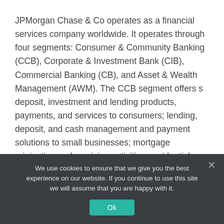JPMorgan Chase & Co operates as a financial services company worldwide. It operates through four segments: Consumer & Community Banking (CCB), Corporate & Investment Bank (CIB), Commercial Banking (CB), and Asset & Wealth Management (AWM). The CCB segment offers s deposit, investment and lending products, payments, and services to consumers; lending, deposit, and cash management and payment solutions to small businesses; mortgage origination and servicing activities; residential mortgages and home equity loans; and credit card, auto loan, and leasing services.
We use cookies to ensure that we give you the best experience on our website. If you continue to use this site we will assume that you are happy with it.